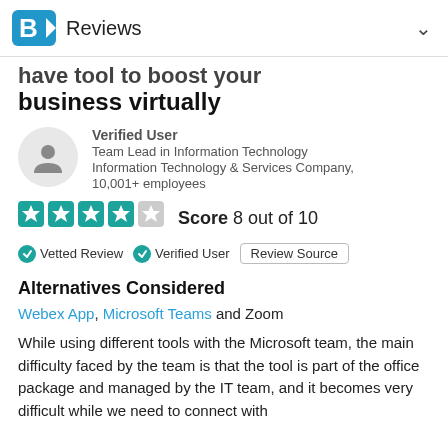Reviews
have tool to boost your business virtually
Verified User
Team Lead in Information Technology
Information Technology & Services Company, 10,001+ employees
Score 8 out of 10
Vetted Review   Verified User   Review Source
Alternatives Considered
Webex App, Microsoft Teams and Zoom
While using different tools with the Microsoft team, the main difficulty faced by the team is that the tool is part of the office package and managed by the IT team, and it becomes very difficult while we need to connect with